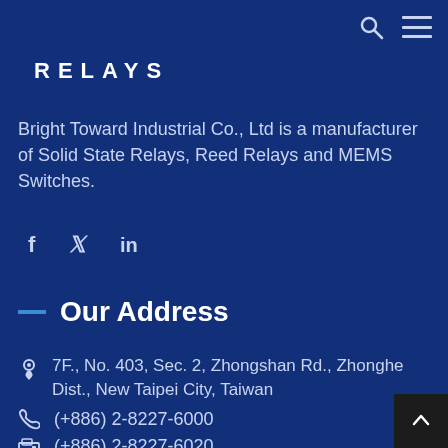RELAYS
Bright Toward Industrial Co., Ltd is a manufacturer of Solid State Relays, Reed Relays and MEMS Switches.
[Figure (infographic): Social media icons: Facebook (f), Twitter (bird icon), LinkedIn (in)]
Our Address
7F., No. 403, Sec. 2, Zhongshan Rd., Zhonghe Dist., New Taipei City, Taiwan
(+886) 2-8227-6000
(+886) 2-8227-6020